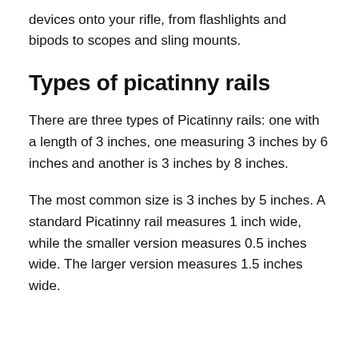devices onto your rifle, from flashlights and bipods to scopes and sling mounts.
Types of picatinny rails
There are three types of Picatinny rails: one with a length of 3 inches, one measuring 3 inches by 6 inches and another is 3 inches by 8 inches.
The most common size is 3 inches by 5 inches. A standard Picatinny rail measures 1 inch wide, while the smaller version measures 0.5 inches wide. The larger version measures 1.5 inches wide.